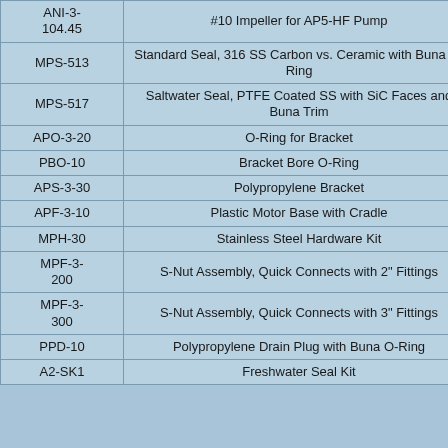| Part Number | Description |
| --- | --- |
| ANI-3-104.45 | #10 Impeller for AP5-HF Pump |
| MPS-513 | Standard Seal, 316 SS Carbon vs. Ceramic with Buna O-Ring |
| MPS-517 | Saltwater Seal, PTFE Coated SS with SiC Faces and Buna Trim |
| APO-3-20 | O-Ring for Bracket |
| PBO-10 | Bracket Bore O-Ring |
| APS-3-30 | Polypropylene Bracket |
| APF-3-10 | Plastic Motor Base with Cradle |
| MPH-30 | Stainless Steel Hardware Kit |
| MPF-3-200 | S-Nut Assembly, Quick Connects with 2" Fittings |
| MPF-3-300 | S-Nut Assembly, Quick Connects with 3" Fittings |
| PPD-10 | Polypropylene Drain Plug with Buna O-Ring |
| A2-SK1 | Freshwater Seal Kit |